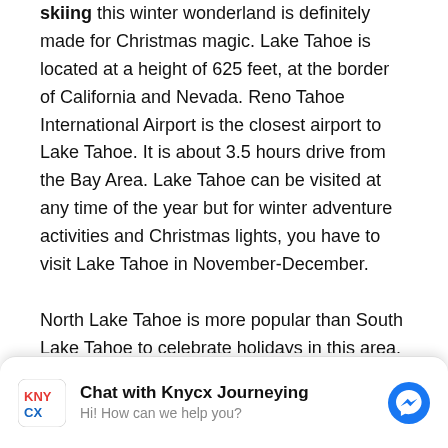skiing this winter wonderland is definitely made for Christmas magic. Lake Tahoe is located at a height of 625 feet, at the border of California and Nevada. Reno Tahoe International Airport is the closest airport to Lake Tahoe. It is about 3.5 hours drive from the Bay Area. Lake Tahoe can be visited at any time of the year but for winter adventure activities and Christmas lights, you have to visit Lake Tahoe in November-December.

North Lake Tahoe is more popular than South Lake Tahoe to celebrate holidays in this area. From the stunning icy lake to the snow-capped mountains in the distance, scenic landscapes, twinkling lights, cozy
[Figure (screenshot): Chat widget for Knycx Journeying showing KNY CX logo, text 'Chat with Knycx Journeying' and 'Hi! How can we help you?', and a blue Messenger icon.]